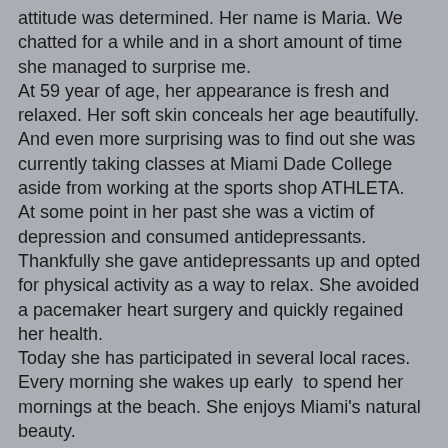attitude was determined. Her name is Maria. We chatted for a while and in a short amount of time she managed to surprise me.
At 59 year of age, her appearance is fresh and relaxed. Her soft skin conceals her age beautifully. And even more surprising was to find out she was currently taking classes at Miami Dade College aside from working at the sports shop ATHLETA.
At some point in her past she was a victim of depression and consumed antidepressants. Thankfully she gave antidepressants up and opted for physical activity as a way to relax. She avoided a pacemaker heart surgery and quickly regained her health.
Today she has participated in several local races. Every morning she wakes up early  to spend her mornings at the beach. She enjoys Miami's natural beauty.
Ultimately, she is a beautiful woman who radiates health and positivism.
I personally think that it is possible to change our lives, our health and our destiny. With a strong will power we can acquire good habits and embrace positive thinking.